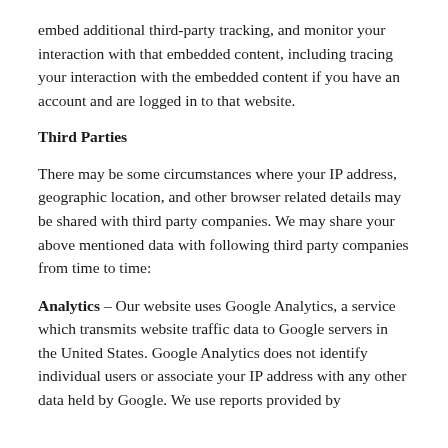embed additional third-party tracking, and monitor your interaction with that embedded content, including tracing your interaction with the embedded content if you have an account and are logged in to that website.
Third Parties
There may be some circumstances where your IP address, geographic location, and other browser related details may be shared with third party companies. We may share your above mentioned data with following third party companies from time to time:
Analytics – Our website uses Google Analytics, a service which transmits website traffic data to Google servers in the United States. Google Analytics does not identify individual users or associate your IP address with any other data held by Google. We use reports provided by